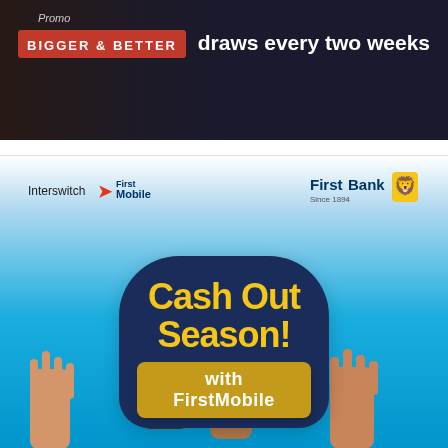[Figure (photo): Dark-background promotional banner with 'Promo', 'BIGGER & BETTER' red label on left, and text 'draws every two weeks' on right in white]
[Figure (illustration): FirstBank FirstMobile 'Cash Out Season! with FirstMobile' promotional advertisement on blue gradient background with illustrated raised hands and logos for Interswitch FirstMobile and FirstBank]